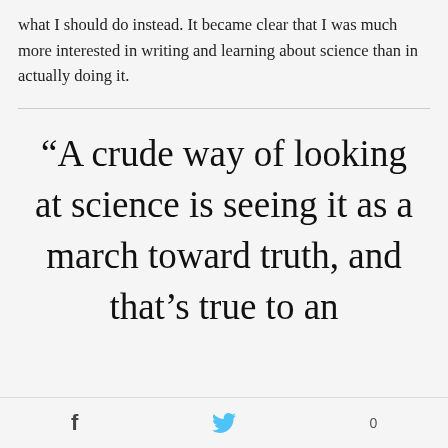what I should do instead. It became clear that I was much more interested in writing and learning about science than in actually doing it.
“A crude way of looking at science is seeing it as a march toward truth, and that’s true to an extent, but I say it
f  [twitter bird]  0